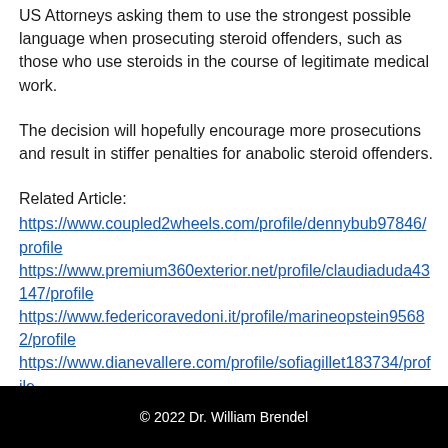US Attorneys asking them to use the strongest possible language when prosecuting steroid offenders, such as those who use steroids in the course of legitimate medical work.
The decision will hopefully encourage more prosecutions and result in stiffer penalties for anabolic steroid offenders.
Related Article:
https://www.coupled2wheels.com/profile/dennybub97846/profile
https://www.premium360exterior.net/profile/claudiaduda43147/profile
https://www.federicoravedoni.it/profile/marineopstein95682/profile
https://www.dianevallere.com/profile/sofiagillet183734/profile
© 2022 Dr. William Brendel